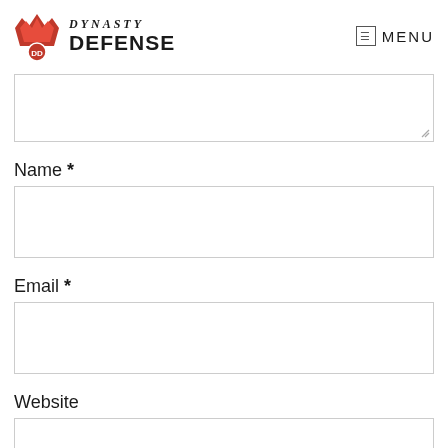Dynasty Defense — MENU
[Figure (other): Textarea form field (top, partially visible, with resize handle)]
Name *
[Figure (other): Name input form field]
Email *
[Figure (other): Email input form field]
Website
[Figure (other): Website input form field (partially visible)]